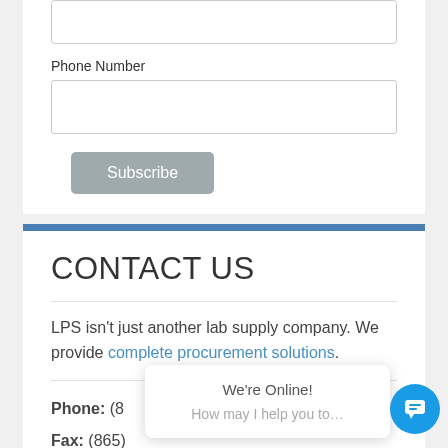Phone Number
[Figure (screenshot): Phone Number input field (empty text box)]
[Figure (screenshot): Subscribe button (gray rounded rectangle)]
CONTACT US
LPS isn't just another lab supply company. We provide complete procurement solutions.
Phone: (8...
Fax: (865)...
[Figure (screenshot): Chat popup with 'We're Online!' and 'How may I help you to...' text, plus blue chat icon button]